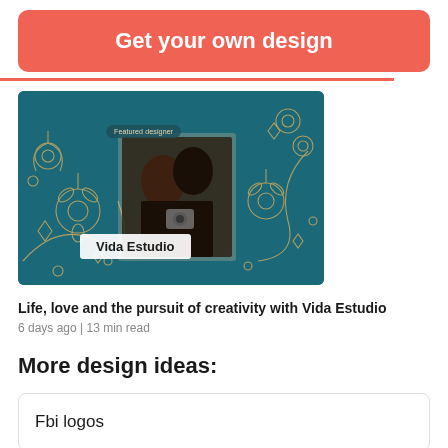Get your own design
[Figure (photo): Featured designer image showing a couple with a camera against a teal floral background, labeled 'Vida Estudio']
Life, love and the pursuit of creativity with Vida Estudio
6 days ago | 13 min read
More design ideas:
Fbi logos